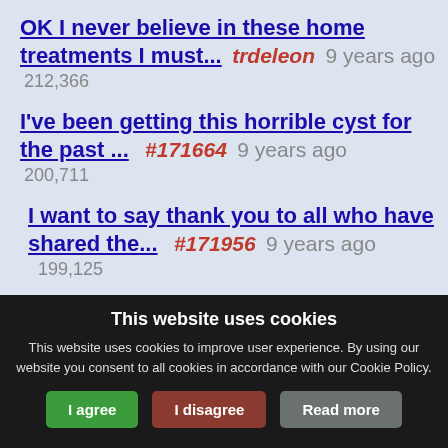OK I never believe in these home treatments I must...  trdeleon  9 years ago  212,366
I've been getting this horrible cyst for the past ...  #171664  9 years ago  200,711
I want to say thank you to all who have shared the...  #171956  9 years ago  199,125
OMG!I went to the store today and purchased the pr...  Nicole92335  9
This website uses cookies
This website uses cookies to improve user experience. By using our website you consent to all cookies in accordance with our Cookie Policy.
I agree  I disagree  Read more